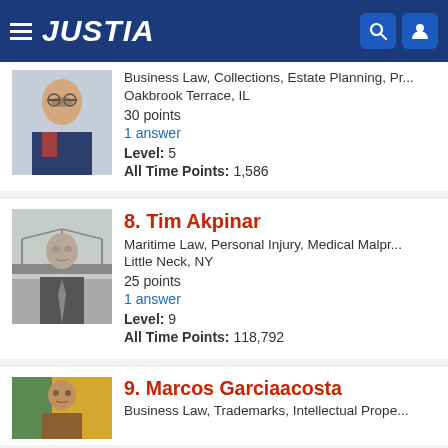JUSTIA
Business Law, Collections, Estate Planning, Pr...
Oakbrook Terrace, IL
30 points
1 answer
Level: 5
All Time Points: 1,586
8. Tim Akpinar
Maritime Law, Personal Injury, Medical Malpr...
Little Neck, NY
25 points
1 answer
Level: 9
All Time Points: 118,792
9. Marcos Garciaacosta
Business Law, Trademarks, Intellectual Prope...